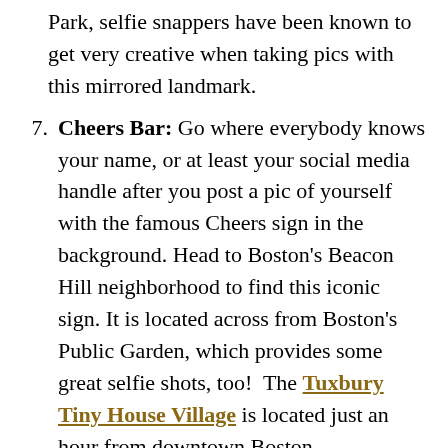(continuation) Park, selfie snappers have been known to get very creative when taking pics with this mirrored landmark.
7. Cheers Bar: Go where everybody knows your name, or at least your social media handle after you post a pic of yourself with the famous Cheers sign in the background. Head to Boston's Beacon Hill neighborhood to find this iconic sign. It is located across from Boston's Public Garden, which provides some great selfie shots, too!  The Tuxbury Tiny House Village is located just an hour from downtown Boston.
8. Hersheypark: Visit Hersheypark and keep your eyes peeled for an opportunity to take a pic with life-sized candy characters,